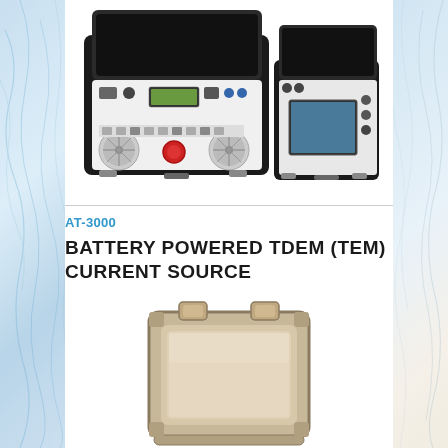[Figure (photo): Two open equipment cases: a large black hard case with TDEM current source electronics including fans, switches, displays and connectors, and a smaller black hard case with a touchscreen display and controls]
AT-3000
BATTERY POWERED TDEM (TEM) CURRENT SOURCE
[Figure (photo): A beige/tan rugged hard equipment case (closed or partially open) with two latches on top, viewed from the front]